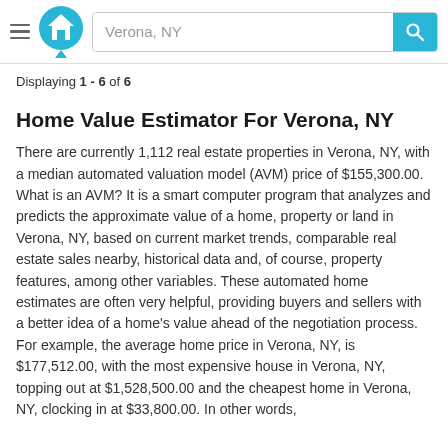Verona, NY [search bar with logo]
Displaying 1 - 6 of 6
Home Value Estimator For Verona, NY
There are currently 1,112 real estate properties in Verona, NY, with a median automated valuation model (AVM) price of $155,300.00. What is an AVM? It is a smart computer program that analyzes and predicts the approximate value of a home, property or land in Verona, NY, based on current market trends, comparable real estate sales nearby, historical data and, of course, property features, among other variables. These automated home estimates are often very helpful, providing buyers and sellers with a better idea of a home's value ahead of the negotiation process. For example, the average home price in Verona, NY, is $177,512.00, with the most expensive house in Verona, NY, topping out at $1,528,500.00 and the cheapest home in Verona, NY, clocking in at $33,800.00. In other words,